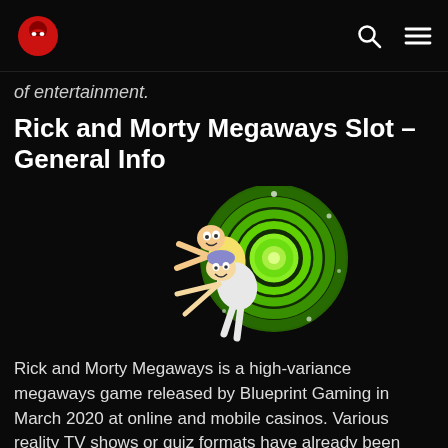[Logo] [Search icon] [Menu icon]
of entertainment.
Rick and Morty Megaways Slot – General Info
[Figure (illustration): Rick and Morty cartoon characters being pulled through a green swirling portal against a black background.]
Rick and Morty Megaways is a high-variance megaways game released by Blueprint Gaming in March 2020 at online and mobile casinos. Various reality TV shows or quiz formats have already been introduced to